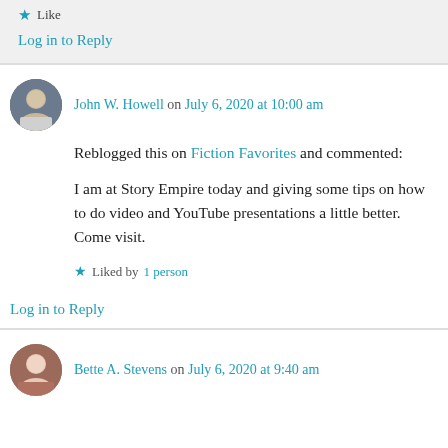Like
Log in to Reply
John W. Howell on July 6, 2020 at 10:00 am
Reblogged this on Fiction Favorites and commented:
I am at Story Empire today and giving some tips on how to do video and YouTube presentations a little better. Come visit.
Liked by 1 person
Log in to Reply
Bette A. Stevens on July 6, 2020 at 9:40 am